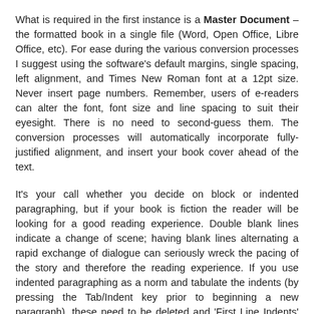What is required in the first instance is a Master Document – the formatted book in a single file (Word, Open Office, Libre Office, etc). For ease during the various conversion processes I suggest using the software's default margins, single spacing, left alignment, and Times New Roman font at a 12pt size. Never insert page numbers. Remember, users of e-readers can alter the font, font size and line spacing to suit their eyesight. There is no need to second-guess them. The conversion processes will automatically incorporate fully-justified alignment, and insert your book cover ahead of the text.
It's your call whether you decide on block or indented paragraphing, but if your book is fiction the reader will be looking for a good reading experience. Double blank lines indicate a change of scene; having blank lines alternating a rapid exchange of dialogue can seriously wreck the pacing of the story and therefore the reading experience. If you use indented paragraphing as a norm and tabulate the indents (by pressing the Tab/Indent key prior to beginning a new paragraph), these need to be deleted and 'First Line Indents' used instead. (In Word, this is generally found under